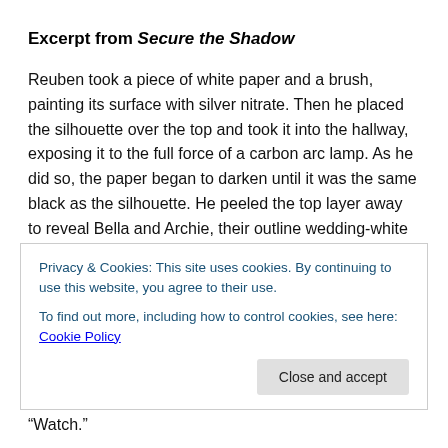Excerpt from Secure the Shadow
Reuben took a piece of white paper and a brush, painting its surface with silver nitrate. Then he placed the silhouette over the top and took it into the hallway, exposing it to the full force of a carbon arc lamp. As he did so, the paper began to darken until it was the same black as the silhouette. He peeled the top layer away to reveal Bella and Archie, their outline wedding-white like fallen snow.
“A photogram,” Reuben explained. “The earliest form of
Privacy & Cookies: This site uses cookies. By continuing to use this website, you agree to their use.
To find out more, including how to control cookies, see here: Cookie Policy
Close and accept
“Watch.”